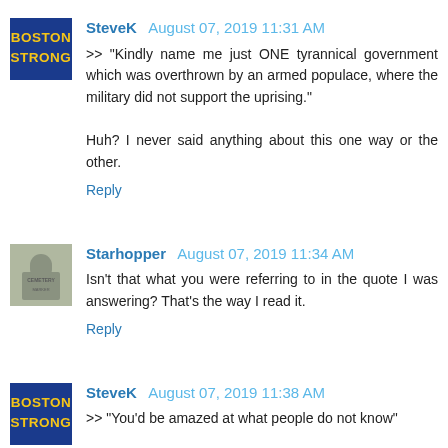SteveK  August 07, 2019 11:31 AM
>> "Kindly name me just ONE tyrannical government which was overthrown by an armed populace, where the military did not support the uprising."

Huh? I never said anything about this one way or the other.
Reply
Starhopper  August 07, 2019 11:34 AM
Isn't that what you were referring to in the quote I was answering? That's the way I read it.
Reply
SteveK  August 07, 2019 11:38 AM
>> "You'd be amazed at what people do not know"

Your list of educational points are about gun safety and